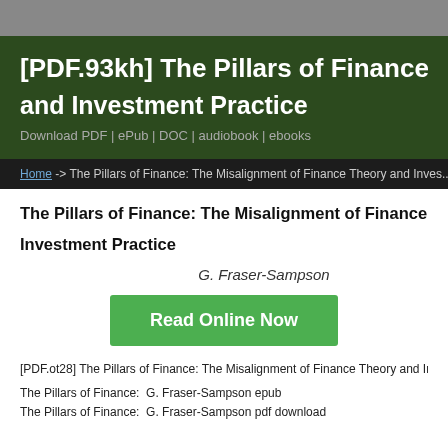[PDF.93kh] The Pillars of Finance: The Misalignment of Finance Theory and Investment Practice
Download PDF | ePub | DOC | audiobook | ebooks
Home -> The Pillars of Finance: The Misalignment of Finance Theory and Investment Practice
The Pillars of Finance: The Misalignment of Finance Theory and Investment Practice
G. Fraser-Sampson
Read Online Now
[PDF.ot28] The Pillars of Finance: The Misalignment of Finance Theory and Investment Practice
The Pillars of Finance:  G. Fraser-Sampson epub
The Pillars of Finance:  G. Fraser-Sampson pdf download